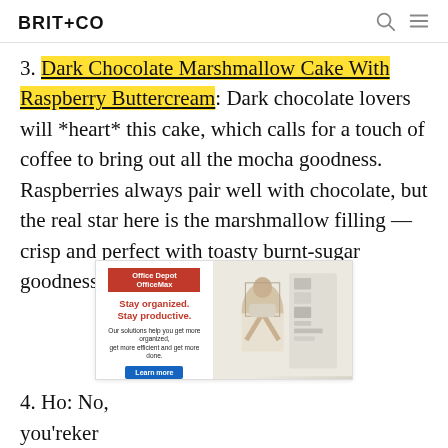BRIT+CO
3. Dark Chocolate Marshmallow Cake With Raspberry Buttercream: Dark chocolate lovers will *heart* this cake, which calls for a touch of coffee to bring out all the mocha goodness. Raspberries always pair well with chocolate, but the real star here is the marshmallow filling — crisp and perfect with toasty burnt-sugar goodness. (via Tidy Mom)
[Figure (photo): Office Depot OfficeMax advertisement banner showing 'Stay organized. Stay productive.' with a person organizing shelves in the background.]
4. Ho... : No, you're... ker